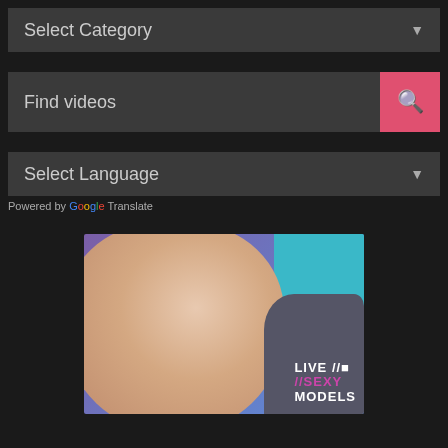[Figure (screenshot): Select Category dropdown UI element with dark gray background and dropdown arrow]
[Figure (screenshot): Find videos search bar with pink search button and magnifying glass icon]
[Figure (screenshot): Select Language dropdown UI element with dark gray background and dropdown arrow]
Powered by Google Translate
[Figure (photo): Advertisement image with text overlay reading LIVE // SEXY MODELS]